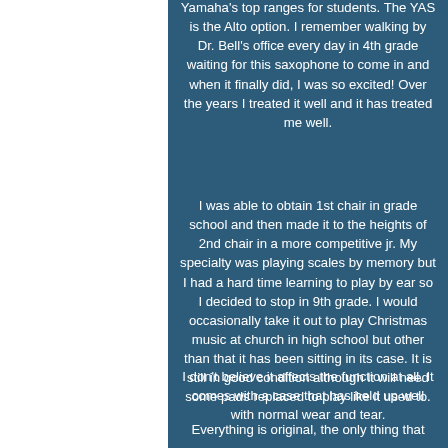Yamaha's top ranges for students. The YAS is the Alto option. I remember walking by Dr. Bell's office every day in 4th grade waiting for this saxophone to come in and when it finally did, I was so excited! Over the years I treated it well and it has treated me well.
I was able to obtain 1st chair in grade school and then made it to the heights of 2nd chair in a more competitive jr. My specialty was playing scales by memory but I had a hard time learning to play by ear so I decided to stop in 9th grade. I would occasionally take it out to play Christmas music at church in high school but other than that it has been sitting in its case. It is still in good condition although it will need some pads replaced to play like it used to.
I don't believe it affects the function at all. It comes with a case that has held up well with normal wear and tear.
Everything is original, the only thing that